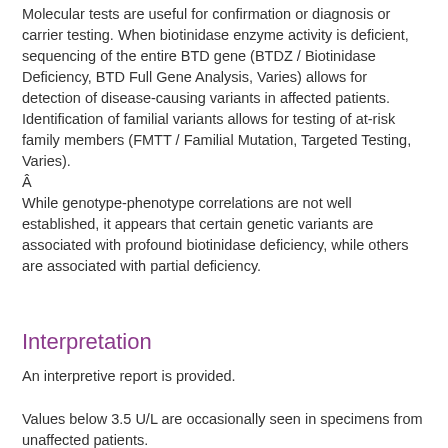Molecular tests are useful for confirmation or diagnosis or carrier testing. When biotinidase enzyme activity is deficient, sequencing of the entire BTD gene (BTDZ / Biotinidase Deficiency, BTD Full Gene Analysis, Varies) allows for detection of disease-causing variants in affected patients. Identification of familial variants allows for testing of at-risk family members (FMTT / Familial Mutation, Targeted Testing, Varies).
Â
While genotype-phenotype correlations are not well established, it appears that certain genetic variants are associated with profound biotinidase deficiency, while others are associated with partial deficiency.
Interpretation
An interpretive report is provided.
Values below 3.5 U/L are occasionally seen in specimens from unaffected patients.
Clinical Reference